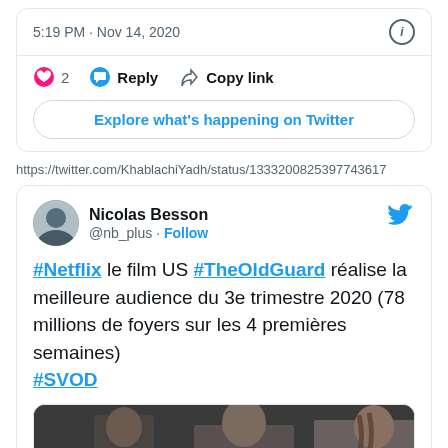5:19 PM · Nov 14, 2020
2  Reply  Copy link
Explore what's happening on Twitter
https://twitter.com/KhablachiYadh/status/1333200825397743617
Nicolas Besson @nb_plus · Follow
#Netflix le film US #TheOldGuard réalise la meilleure audience du 3e trimestre 2020 (78 millions de foyers sur les 4 premières semaines) #SVOD
[Figure (screenshot): Movie scene thumbnail with two people and US flag English language overlay]